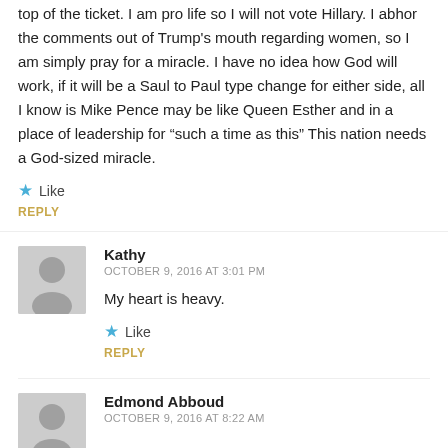top of the ticket. I am pro life so I will not vote Hillary. I abhor the comments out of Trump's mouth regarding women, so I am simply pray for a miracle. I have no idea how God will work, if it will be a Saul to Paul type change for either side, all I know is Mike Pence may be like Queen Esther and in a place of leadership for “such a time as this” This nation needs a God-sized miracle.
Like
REPLY
Kathy
OCTOBER 9, 2016 AT 3:01 PM
My heart is heavy.
Like
REPLY
Edmond Abboud
OCTOBER 9, 2016 AT 8:22 AM